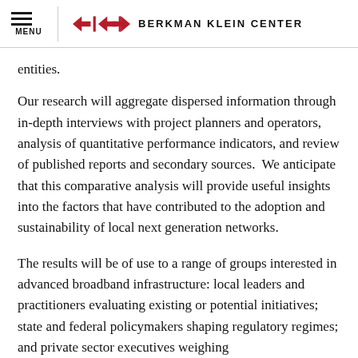MENU | BERKMAN KLEIN CENTER
entities.
Our research will aggregate dispersed information through in-depth interviews with project planners and operators, analysis of quantitative performance indicators, and review of published reports and secondary sources.  We anticipate that this comparative analysis will provide useful insights into the factors that have contributed to the adoption and sustainability of local next generation networks.
The results will be of use to a range of groups interested in advanced broadband infrastructure: local leaders and practitioners evaluating existing or potential initiatives; state and federal policymakers shaping regulatory regimes; and private sector executives weighing